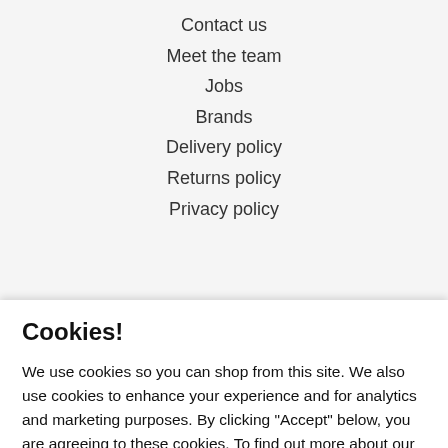Contact us
Meet the team
Jobs
Brands
Delivery policy
Returns policy
Privacy policy
Cookies!
We use cookies so you can shop from this site. We also use cookies to enhance your experience and for analytics and marketing purposes. By clicking "Accept" below, you are agreeing to these cookies. To find out more about our cookies please click here.
Accept
Decline